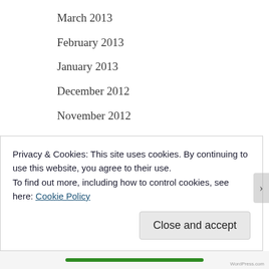March 2013
February 2013
January 2013
December 2012
November 2012
October 2012
September 2012
August 2012
July 2012
June 2012
Privacy & Cookies: This site uses cookies. By continuing to use this website, you agree to their use.
To find out more, including how to control cookies, see here: Cookie Policy
Close and accept